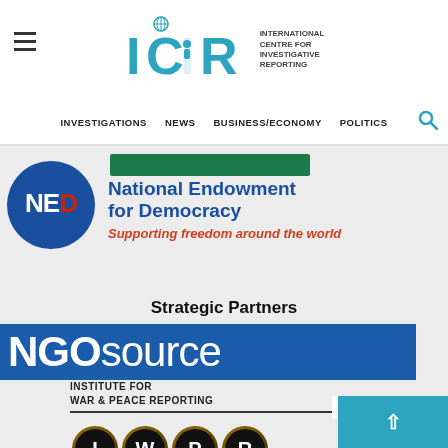[Figure (logo): ICIR - International Centre for Investigative Reporting logo with globe icon and hamburger menu]
INVESTIGATIONS   NEWS   BUSINESS/ECONOMY   POLITICS
[Figure (logo): National Endowment for Democracy - NED logo with blue circle, Supporting freedom around the world tagline, and green bar]
Strategic Partners
[Figure (logo): NGOsource logo - white bold text on blue background]
[Figure (logo): IWPR - Institute for War & Peace Reporting logo with black circular letter keys]
[Figure (logo): International Budget Partnership logo with colorful pinwheel and text]